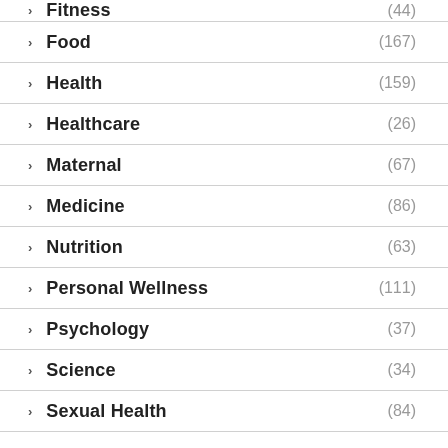Fitness (44)
Food (167)
Health (159)
Healthcare (26)
Maternal (67)
Medicine (86)
Nutrition (63)
Personal Wellness (111)
Psychology (37)
Science (34)
Sexual Health (84)